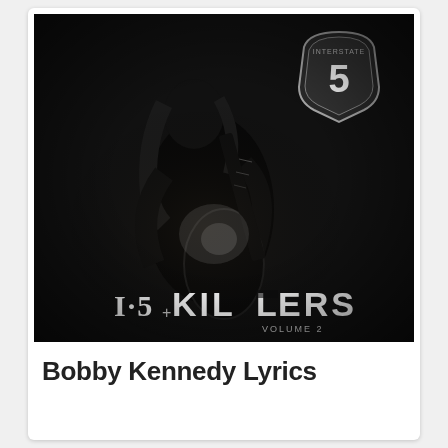[Figure (photo): Black and white album cover showing a guitarist performing on stage in dark lighting, with an Interstate 5 highway sign visible in the upper right. Text reads 'I-5 KILLERS VOLUME 2' at the bottom of the image.]
Bobby Kennedy Lyrics